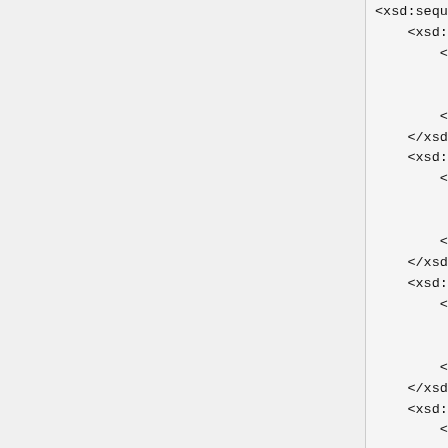<xsd:sequence>
    <xsd:element name="
        <xsd:annot
            <xs
            <xs
        </xsd:annot
    </xsd:element>
    <xsd:element name="
        <xsd:annota
            <xs
            <xs
        </xsd:annot
    </xsd:element>
    <xsd:element name="
        <xsd:annota
            <xs
            <xs
        </xsd:annot
    </xsd:element>
    <xsd:element name="
        <xsd:annota
            <xs
            <xs
        </xsd:annot
    </xsd:element>
    <xsd:element name="
        <xsd:annota
            <xs
            <xs
        </xsd:annot
    </xsd:element>
    <xsd:element name="